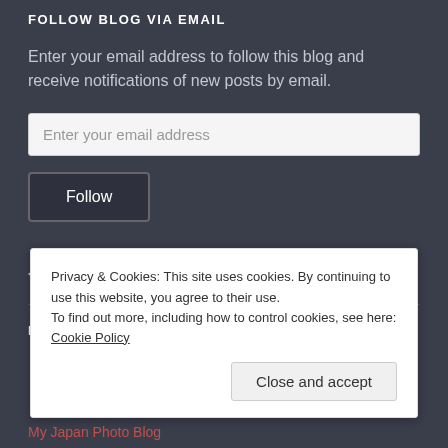FOLLOW BLOG VIA EMAIL
Enter your email address to follow this blog and receive notifications of new posts by email.
Join 1,444 other followers
BLOGROLL
Privacy & Cookies: This site uses cookies. By continuing to use this website, you agree to their use.
To find out more, including how to control cookies, see here: Cookie Policy
My Japan Photo Blog